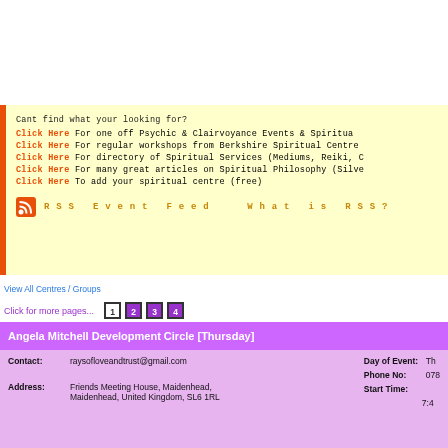Cant find what your looking for?
Click Here For one off Psychic & Clairvoyance Events & Spiritual...
Click Here For regular workshops from Berkshire Spiritual Centre...
Click Here For directory of Spiritual Services (Mediums, Reiki, C...
Click Here For many great articles on Spiritual Philosophy (Silve...
Click Here To add your spiritual centre (free)
RSS Event Feed    What is RSS?
View All Centres / Groups
Click for more pages...  1 2 3 4
Angela Mitchell Development Circle [Thursday]
| Contact: | raysofloveandtrust@gmail.com | Day of Event: | Th... |
| --- | --- | --- | --- |
|  |  | Phone No: | 078... |
| Address: | Friends Meeting House, Maidenhead, Maidenhead, United Kingdom, SL6 1RL | Start Time: | 7:4... |
Monthly Development Circl...